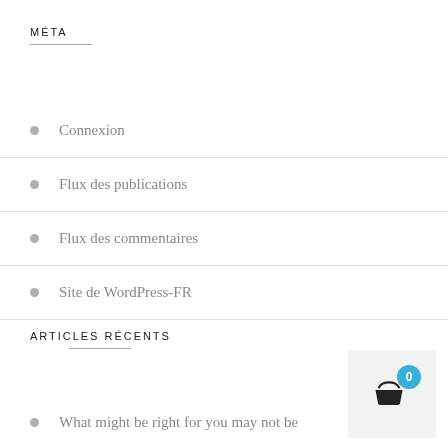MÉTA
Connexion
Flux des publications
Flux des commentaires
Site de WordPress-FR
ARTICLES RÉCENTS
What might be right for you may not be